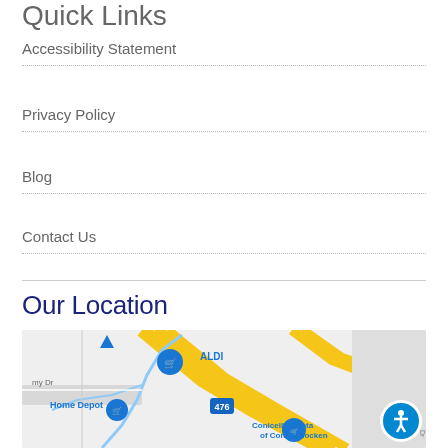Quick Links
Accessibility Statement
Privacy Policy
Blog
Contact Us
Our Location
[Figure (map): Google map showing location near ALDI, Home Depot, 476 highway, and Conicelli Toyota of Conshohocken]